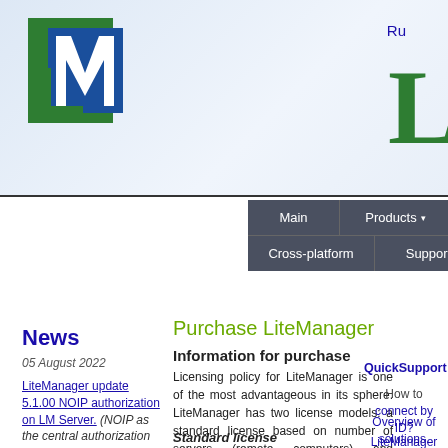[Figure (logo): LiteManager logo with green L and blue M letters]
Ru
[Figure (logo): Large green L letter on right side header]
Main | Products ▾ | Download | Buy | Forum | Cross-platform | Support ▾ | Contact
News
05 August 2022
LiteManager update 5.1.00 NOIP authorization on LM Server. (NOIP as the central authorization server) Managing
Purchase LiteManager
Information for purchase
Licensing policy for LiteManager is one of the most advantageous in its sphere. LiteManager has two license models: a standard license based on number of servers (remote computers) and HelpDesk license based on number of active connections (channels).
Standard license
The cost of LiteManager is calculated
QuickSupport
How to connect by ID?
Overview of solutions.
LiteManager comparison with analogues